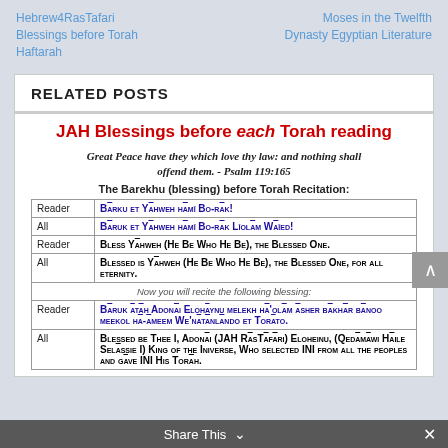Hebrew4RasTafari Blessings before Torah Haftarah
Moses in the Twelfth Dynasty Egyptian Literature
RELATED POSTS
JAH Blessings before each Torah reading
Great Peace have they which love thy law: and nothing shall offend them. - Psalm 119:165
The Barekhu (blessing) before Torah Recitation:
|  |  |
| --- | --- |
| Reader | BARKU ET YAHWEH HAMI̅ BO-RAK! |
| All | BARUK ET YAHWEH HAMI̅ BO-RAK LI̅OLAM WAI̅ED! |
| Reader | BLESS YAHWEH (HE BE WHO HE BE), THE BLESSED ONE. |
| All | BLESSED IS YAHWEH (HE BE WHO HE BE), THE BLESSED ONE, FOR ALL ETERNITY. |
|  | Now you will recite the following blessing: |
| Reader | BARUK ATAH ADONAI ELOHAYNU MELEKH HA'OLAM ASHER BAKHAR BANOO MEEKOL HA-AMEEM WE'NATANLANDO ET TORATO. |
| All | BLESSED BE THEE I, ADONAI (JAH RASTAFARI) ELOHEINU, (QEDAMAWI HAILE SELASSIE I) KING OF THE INIVERSE, WHO SELECTED INI FROM ALL THE PEOPLES AND GAVE INI HIS TORAH. |